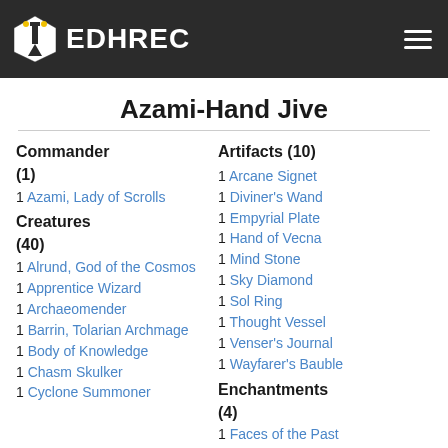EDHREC
Azami-Hand Jive
Commander (1)
1 Azami, Lady of Scrolls
Creatures (40)
1 Alrund, God of the Cosmos
1 Apprentice Wizard
1 Archaeomender
1 Barrin, Tolarian Archmage
1 Body of Knowledge
1 Chasm Skulker
1 Cyclone Summoner
Artifacts (10)
1 Arcane Signet
1 Diviner's Wand
1 Empyrial Plate
1 Hand of Vecna
1 Mind Stone
1 Sky Diamond
1 Sol Ring
1 Thought Vessel
1 Venser's Journal
1 Wayfarer's Bauble
Enchantments (4)
1 Faces of the Past
1 Ominous Seas
1 Teferi's Ageless Insight
1 Wizard Class